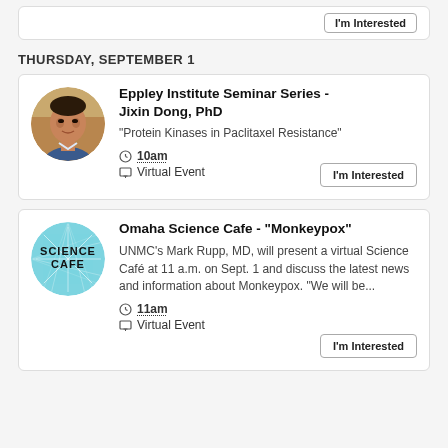[Figure (other): Partial event card from previous section showing 'I'm Interested' button]
THURSDAY, SEPTEMBER 1
[Figure (photo): Circular portrait photo of Jixin Dong, PhD]
Eppley Institute Seminar Series - Jixin Dong, PhD
"Protein Kinases in Paclitaxel Resistance"
10am
Virtual Event
[Figure (logo): Science Cafe circular logo with teal starburst background]
Omaha Science Cafe - "Monkeypox"
UNMC's Mark Rupp, MD, will present a virtual Science Café at 11 a.m. on Sept. 1 and discuss the latest news and information about Monkeypox. "We will be...
11am
Virtual Event